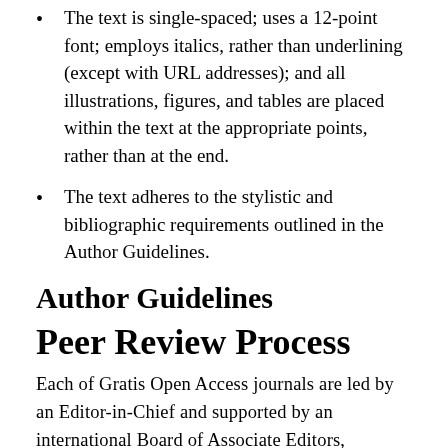The text is single-spaced; uses a 12-point font; employs italics, rather than underlining (except with URL addresses); and all illustrations, figures, and tables are placed within the text at the appropriate points, rather than at the end.
The text adheres to the stylistic and bibliographic requirements outlined in the Author Guidelines.
Author Guidelines
Peer Review Process
Each of Gratis Open Access journals are led by an Editor-in-Chief and supported by an international Board of Associate Editors, comprised of respected